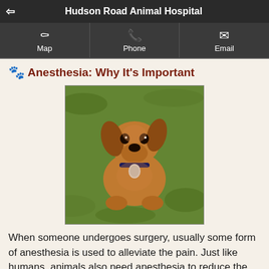Hudson Road Animal Hospital
Anesthesia: Why It's Important
[Figure (photo): A golden/reddish dachshund or retriever-mix dog sitting on green grass, looking upward at the camera, wearing a collar with a tag.]
When someone undergoes surgery, usually some form of anesthesia is used to alleviate the pain. Just like humans, animals also need anesthesia to reduce the pain during